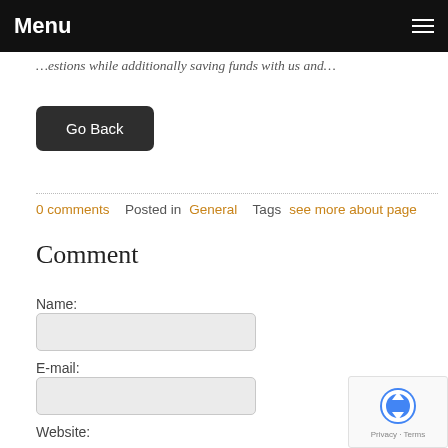Menu
…estions while additionally saving funds with us and…
Go Back
0 comments   Posted in General   Tags see more about page
Comment
Name:
E-mail:
Website: